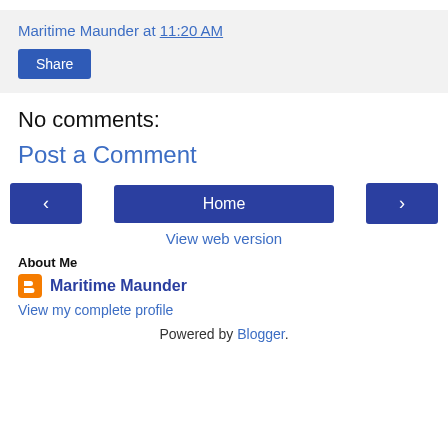Maritime Maunder at 11:20 AM
Share
No comments:
Post a Comment
‹
Home
›
View web version
About Me
Maritime Maunder
View my complete profile
Powered by Blogger.